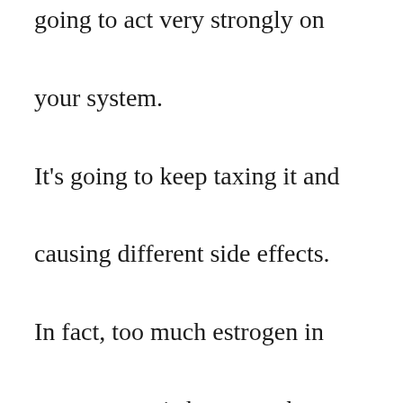going to act very strongly on your system. It's going to keep taxing it and causing different side effects. In fact, too much estrogen in your system is known to be a great contributor to breast cancer, ovarian and uterine cancer, and even worse, cardiovascular problems.